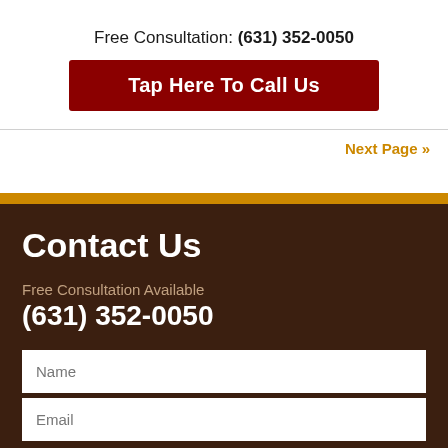Free Consultation: (631) 352-0050
Tap Here To Call Us
Next Page »
Contact Us
Free Consultation Available
(631) 352-0050
Name
Email